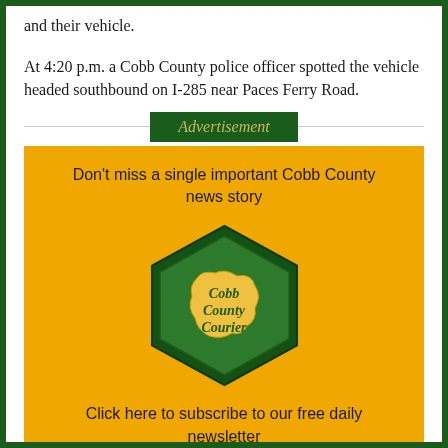and their vehicle.
At 4:20 p.m. a Cobb County police officer spotted the vehicle headed southbound on I-285 near Paces Ferry Road.
[Figure (infographic): Advertisement banner for Cobb County Courier newsletter subscription. Yellow background with green hexagon logo showing 'Cobb County Courier' text. Top text: 'Don't miss a single important Cobb County news story'. Bottom text: 'Click here to subscribe to our free daily newsletter'.]
Advertisement